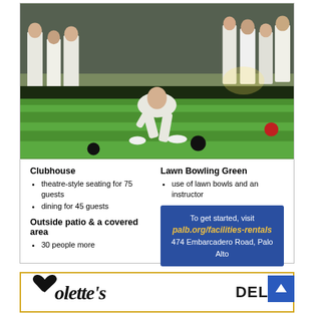[Figure (photo): Outdoor lawn bowling scene. A man in white clothing bends low to deliver a lawn bowl on a bright green grass court. Several other players dressed in white stand watching in the background. A red ball is visible on the right side of the green.]
Clubhouse
theatre-style seating for 75 guests
dining for 45 guests
Outside patio & a covered area
30 people more
Lawn Bowling Green
use of lawn bowls and an instructor
To get started, visit palb.org/facilities-rentals 474 Embarcadero Road, Palo Alto
[Figure (logo): Colette's Deli & logo — script font with a heart shape forming the 'C', followed by 'DELI &' in bold serif font]